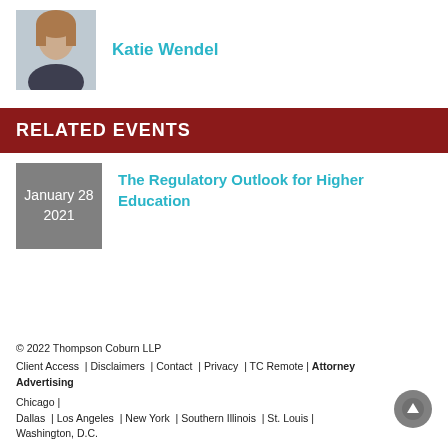[Figure (photo): Headshot photo of Katie Wendel, a woman with long brown hair, smiling, wearing a dark blazer]
Katie Wendel
RELATED EVENTS
January 28
2021
The Regulatory Outlook for Higher Education
© 2022 Thompson Coburn LLP
Client Access  |  Disclaimers  |  Contact  |  Privacy  |  TC Remote  |  Attorney Advertising

Chicago  |
Dallas  |  Los Angeles  |  New York  |  Southern Illinois  |  St. Louis  |
Washington, D.C.